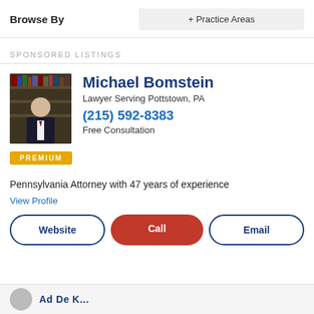Browse By
+ Practice Areas
SPONSORED LISTINGS
Michael Bomstein
Lawyer Serving Pottstown, PA
(215) 592-8383
Free Consultation
PREMIUM
Pennsylvania Attorney with 47 years of experience
View Profile
Website
Call
Email